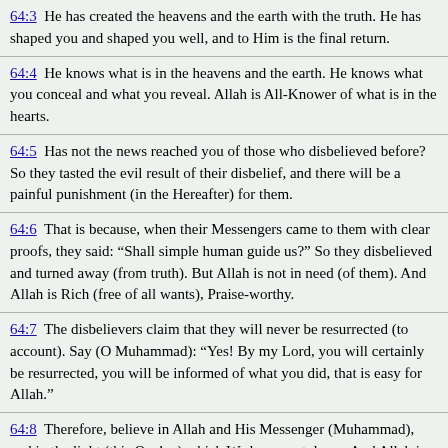64:3 He has created the heavens and the earth with the truth. He has shaped you and shaped you well, and to Him is the final return.
64:4 He knows what is in the heavens and the earth. He knows what you conceal and what you reveal. Allah is All-Knower of what is in the hearts.
64:5 Has not the news reached you of those who disbelieved before? So they tasted the evil result of their disbelief, and there will be a painful punishment (in the Hereafter) for them.
64:6 That is because, when their Messengers came to them with clear proofs, they said: “Shall simple human guide us?” So they disbelieved and turned away (from truth). But Allah is not in need (of them). And Allah is Rich (free of all wants), Praise-worthy.
64:7 The disbelievers claim that they will never be resurrected (to account). Say (O Muhammad): “Yes! By my Lord, you will certainly be resurrected, you will be informed of what you did, that is easy for Allah.”
64:8 Therefore, believe in Allah and His Messenger (Muhammad), and in the light (this Qur’an) which We have sent down. And Allah is All-Aware of what you do.